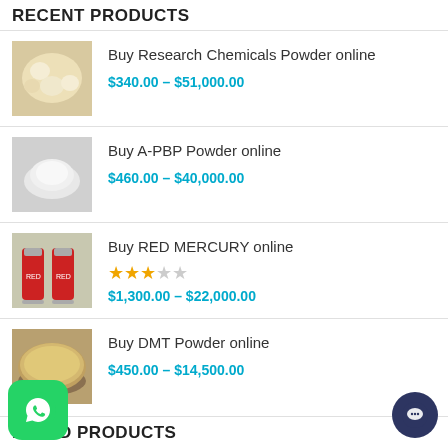RECENT PRODUCTS
Buy Research Chemicals Powder online
$340.00 – $51,000.00
Buy A-PBP Powder online
$460.00 – $40,000.00
Buy RED MERCURY online
★★★☆☆
$1,300.00 – $22,000.00
Buy DMT Powder online
$450.00 – $14,500.00
RATED PRODUCTS